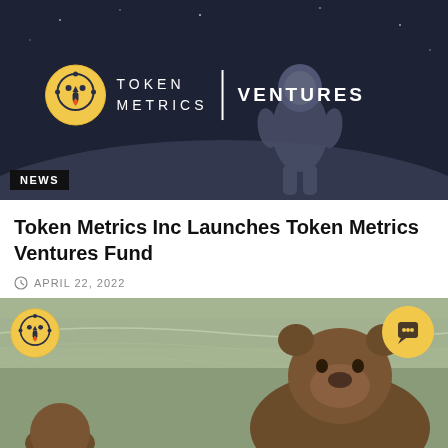[Figure (photo): Hero image with astronaut on moon surface, dark blue/grey tone. Token Metrics Ventures logo and text centered. NEWS badge in bottom left corner.]
Token Metrics Inc Launches Token Metrics Ventures Fund
APRIL 22, 2022
[Figure (photo): Image of a bear (brown bear) in water with Token Metrics logo overlay on the left and a chat widget button on the right.]